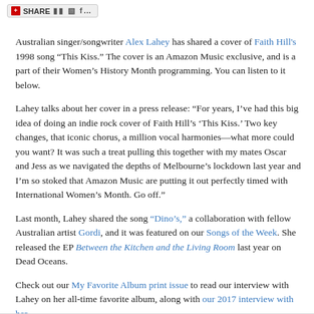SHARE
Australian singer/songwriter Alex Lahey has shared a cover of Faith Hill's 1998 song “This Kiss.” The cover is an Amazon Music exclusive, and is a part of their Women’s History Month programming. You can listen to it below.
Lahey talks about her cover in a press release: “For years, I’ve had this big idea of doing an indie rock cover of Faith Hill’s ‘This Kiss.’ Two key changes, that iconic chorus, a million vocal harmonies—what more could you want? It was such a treat pulling this together with my mates Oscar and Jess as we navigated the depths of Melbourne’s lockdown last year and I’m so stoked that Amazon Music are putting it out perfectly timed with International Women’s Month. Go off.”
Last month, Lahey shared the song “Dino’s,” a collaboration with fellow Australian artist Gordi, and it was featured on our Songs of the Week. She released the EP Between the Kitchen and the Living Room last year on Dead Oceans.
Check out our My Favorite Album print issue to read our interview with Lahey on her all-time favorite album, along with our 2017 interview with her.